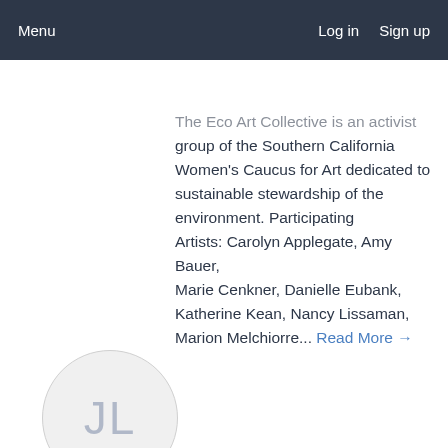Menu    Log in    Sign up
The Eco Art Collective is an activist group of the Southern California Women's Caucus for Art dedicated to sustainable stewardship of the environment. Participating Artists: Carolyn Applegate, Amy Bauer, Marie Cenkner, Danielle Eubank, Katherine Kean, Nancy Lissaman, Marion Melchiorre... Read More →
[Figure (illustration): Circular avatar placeholder with initials JL in light gray on light gray background]
JJ L'Heureux